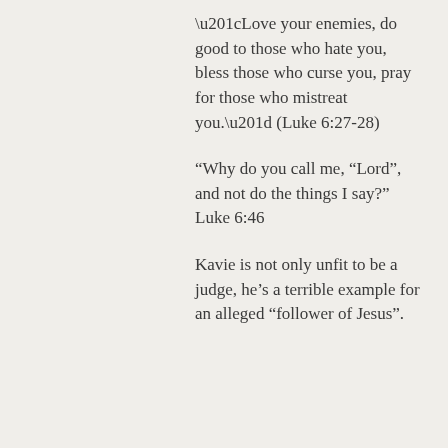“Love your enemies, do good to those who hate you, bless those who curse you, pray for those who mistreat you.” (Luke 6:27-28)
“Why do you call me, “Lord”, and not do the things I say?”  Luke 6:46
Kavie is not only unfit to be a judge, he’s a terrible example for an alleged “follower of Jesus”.